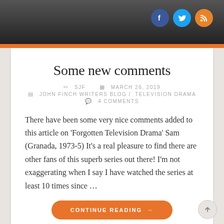[Figure (photo): Top dark header image strip with social media icons (Facebook, Twitter, RSS) in top right]
Some new comments
SJF  MARCH 26, 2019  JOHN FINCH WRITERS BLOG / TELEVISION DRAMA  4 COMMENTS
There have been some very nice comments added to this article on ‘Forgotten Television Drama’ Sam (Granada, 1973-5) It’s a real pleasure to find there are other fans of this superb series out there! I’m not exaggerating when I say I have watched the series at least 10 times since …
CONTINUE READING →